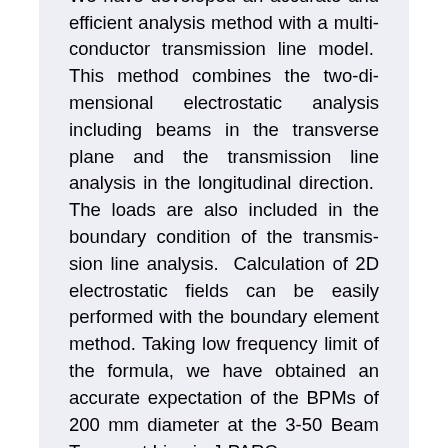We have developed an accurate and efficient analysis method with a multi-conductor transmission line model. This method combines the two-dimensional electrostatic analysis including beams in the transverse plane and the transmission line analysis in the longitudinal direction. The loads are also included in the boundary condition of the transmission line analysis. Calculation of 2D electrostatic fields can be easily performed with the boundary element method. Taking low frequency limit of the formula, we have obtained an accurate expectation of the BPMs of 200 mm diameter at the 3-50 Beam Transport Line in J-PARC.